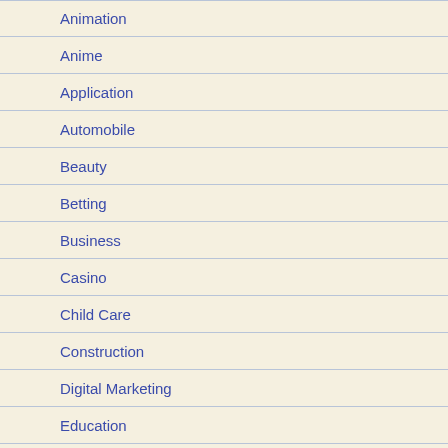Animation
Anime
Application
Automobile
Beauty
Betting
Business
Casino
Child Care
Construction
Digital Marketing
Education
Entertainment